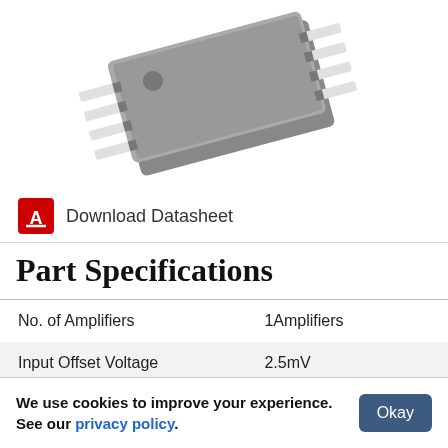[Figure (illustration): 3D illustration of a DIP (Dual Inline Package) integrated circuit chip, gray body with white pins, shown at a diagonal angle on a white background]
Download Datasheet
Part Specifications
| No. of Amplifiers | 1Amplifiers |
| Input Offset Voltage | 2.5mV |
We use cookies to improve your experience. See our privacy policy.